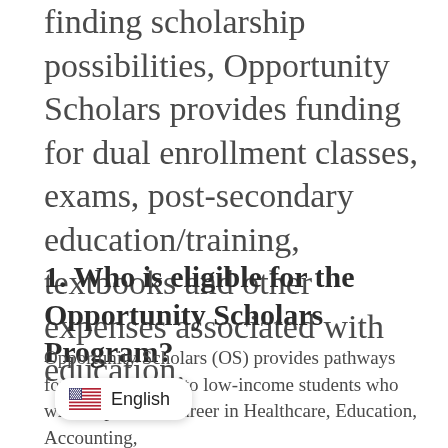finding scholarship possibilities, Opportunity Scholars provides funding for dual enrollment classes, exams, post-secondary education/training, textbooks and other expenses associated with education.
1. Who is eligible for the Opportunity Scholars Program?
Opportunity Scholars (OS) provides pathways for career success to low-income students who wish to pursue a career in Healthcare, Education, Accounting, [Law, Information Technology] or Building Trades and Construction.